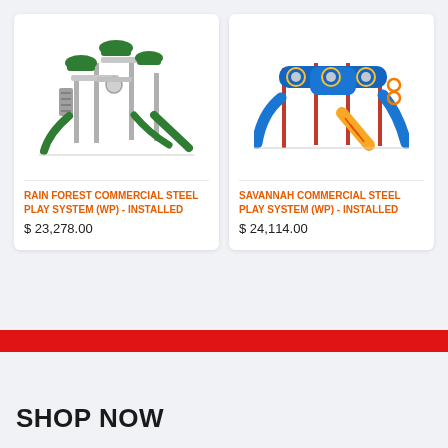[Figure (photo): Rain Forest Commercial Steel Play System - a multi-tower playground structure with green slides, climbing walls, and metal poles]
RAIN FOREST COMMERCIAL STEEL PLAY SYSTEM (WP) - INSTALLED
$ 23,278.00
[Figure (photo): Savannah Commercial Steel Play System - a wide low-profile playground structure with blue slides, yellow ramp, red poles, and circular portholes]
SAVANNAH COMMERCIAL STEEL PLAY SYSTEM (WP) - INSTALLED
$ 24,114.00
SHOP NOW